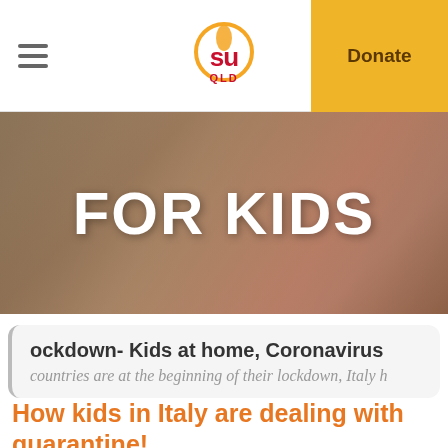SU QLD | Donate
[Figure (screenshot): Hero banner image with blurred background showing items on a table, large white bold text reading FOR KIDS]
ockdown- Kids at home, Coronavirus
countries are at the beginning of their lockdown, Italy h
How kids in Italy are dealing with quarantine!
Kids in Italy have been in lockdown for weeks now! We love this video from The Florentine – where they asked some of these kids for their advice on how to…